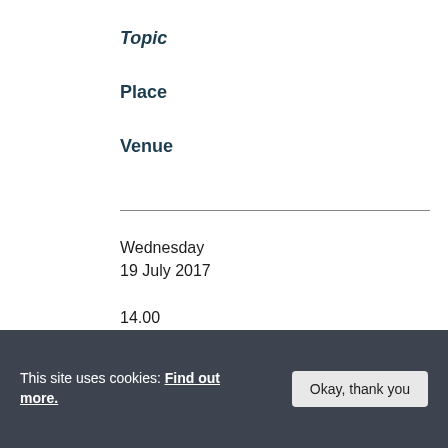Topic
Place
Venue
Wednesday
19 July 2017
14.00
hrs
Tour of Unison Pastels Factory
Summer visit which includes a talk, tour and tea
Thorneyburn, Hexham, NE48
This site uses cookies: Find out more.